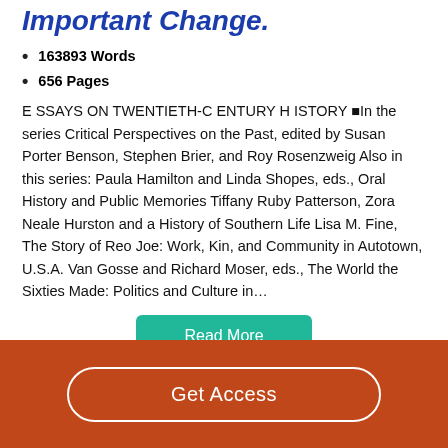Important Change.
163893 Words
656 Pages
E SSAYS ON TWENTIETH-C ENTURY H ISTORY ■In the series Critical Perspectives on the Past, edited by Susan Porter Benson, Stephen Brier, and Roy Rosenzweig Also in this series: Paula Hamilton and Linda Shopes, eds., Oral History and Public Memories Tiffany Ruby Patterson, Zora Neale Hurston and a History of Southern Life Lisa M. Fine, The Story of Reo Joe: Work, Kin, and Community in Autotown, U.S.A. Van Gosse and Richard Moser, eds., The World the Sixties Made: Politics and Culture in…
Read More
Get Access